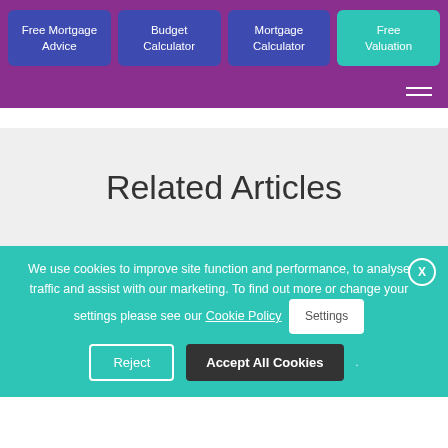Free Mortgage Advice | Budget Calculator | Mortgage Calculator | Free Valuation
Related Articles
We use cookies to improve site function and performance, to analyse traffic and assist with our marketing. To find out more or change your settings please see our Cookie Policy
Settings
Reject
Accept All Cookies